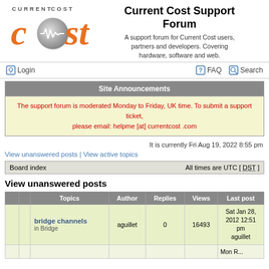[Figure (logo): Current Cost logo with orange 'cost' text and silver circular emblem with a waveform, CURRENT COST text above]
Current Cost Support Forum
A support forum for Current Cost users, partners and developers. Covering hardware, software and web.
Login
FAQ    Search
Site Announcements
The support forum is moderated Monday to Friday, UK time. To submit a support ticket, please email: helpme [at] currentcost .com
It is currently Fri Aug 19, 2022 8:55 pm
View unanswered posts | View active topics
Board index    All times are UTC [ DST ]
View unanswered posts
|  |  | Topics | Author | Replies | Views | Last post |
| --- | --- | --- | --- | --- | --- | --- |
|  |  | bridge channels
in Bridge | aguillet | 0 | 16493 | Sat Jan 28, 2012 12:51 pm
aguillet |
|  |  |  |  |  |  |  |